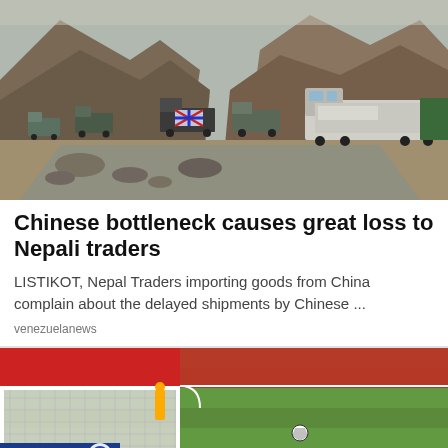[Figure (photo): Mountain road scene with a convoy of trucks navigating a rocky narrow road between steep rocky hills. Multiple trucks including large cargo trucks are visible on a dusty gravel road.]
Chinese bottleneck causes great loss to Nepali traders
LISTIKOT, Nepal Traders importing goods from China complain about the delayed shipments by Chinese ...
venezuelanews
[Figure (photo): Aerial or elevated view of a soccer/football field showing the goal area with white netting and green grass. A red scoreboard or advertisement board visible in the background. SICOO logo/text visible in lower left.]